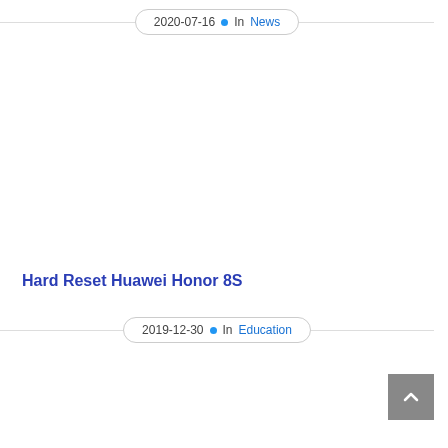2020-07-16 • In News
Hard Reset Huawei Honor 8S
2019-12-30 • In Education